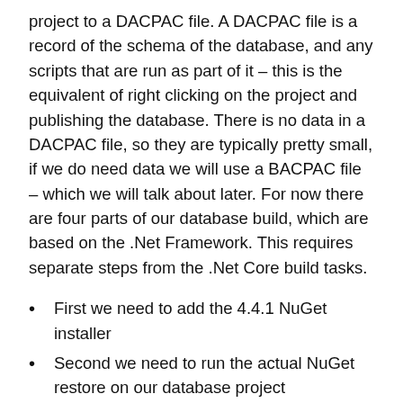project to a DACPAC file. A DACPAC file is a record of the schema of the database, and any scripts that are run as part of it – this is the equivalent of right clicking on the project and publishing the database. There is no data in a DACPAC file, so they are typically pretty small, if we do need data we will use a BACPAC file – which we will talk about later. For now there are four parts of our database build, which are based on the .Net Framework. This requires separate steps from the .Net Core build tasks.
First we need to add the 4.4.1 NuGet installer
Second we need to run the actual NuGet restore on our database project
Third we build our database project, using VSBuild with the .Net Framework